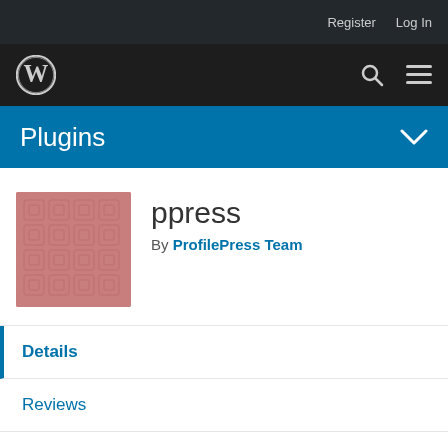Register   Log In
[Figure (logo): WordPress logo in dark navigation bar with search and menu icons]
Plugins
[Figure (illustration): ppress plugin thumbnail - mauve/dusty rose colored grid pattern]
ppress
By ProfilePress Team
Details
Reviews
Support
Development